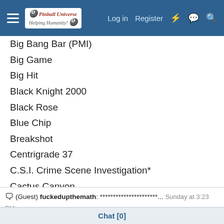Pinball Universe — Log in | Register
Big Bang Bar (PMI)
Big Game
Big Hit
Black Knight 2000
Black Rose
Blue Chip
Breakshot
Centrigrade 37
C.S.I. Crime Scene Investigation*
Cactus Canyon
Centaur
Cheetah
Creature from the Black Lagoon
Derby Day
Dimension
(Guest) fuckedupthemath: **********************... Sunday at 3:23 PM
Chat [0]